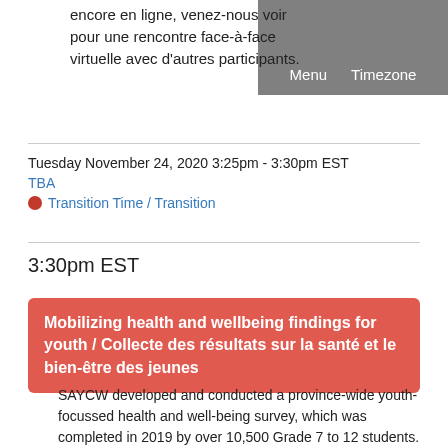encore en ligne, venez-nous voir pour une rencontre face-à-face virtuelle avec d'autres participants.
Menu   Timezone
Tuesday November 24, 2020 3:25pm - 3:30pm EST
TBA
● Transition Time / Transition
3:30pm EST
Mobilizing health and wellbeing findings for youth / Collecte des résultats sur la santé et le bien-être des jeunes
SAYCW developed and conducted a province-wide youth-focussed health and well-being survey, which was completed in 2019 by over 10,500 Grade 7 to 12 students. SAYCW analyzed this data and found important connections among youth health and well-being factors.